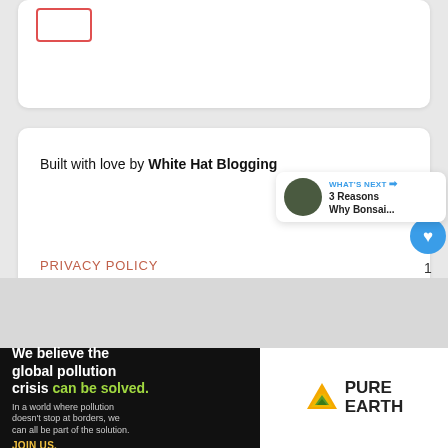[Figure (screenshot): Top card with a red-bordered box UI element]
Built with love by White Hat Blogging
PRIVACY POLICY
AFFILIATE DISCLAIMER
[Figure (infographic): What's Next widget showing '3 Reasons Why Bonsai...' with thumbnail]
[Figure (infographic): Pure Earth advertisement banner: 'We believe the global pollution crisis can be solved. In a world where pollution doesn't stop at borders, we can all be part of the solution. JOIN US.']